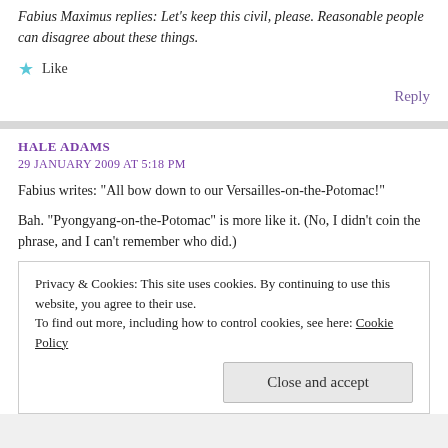Fabius Maximus replies: Let’s keep this civil, please. Reasonable people can disagree about these things.
Like
Reply
HALE ADAMS
29 JANUARY 2009 AT 5:18 PM
Fabius writes: “All bow down to our Versailles-on-the-Potomac!”
Bah. “Pyongyang-on-the-Potomac” is more like it. (No, I didn’t coin the phrase, and I can’t remember who did.)
Privacy & Cookies: This site uses cookies. By continuing to use this website, you agree to their use.
To find out more, including how to control cookies, see here: Cookie Policy
Close and accept